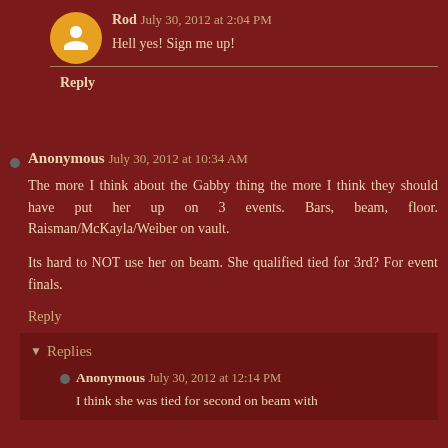Rod July 30, 2012 at 2:04 PM
Hell yes! Sign me up!
Reply
Anonymous July 30, 2012 at 10:34 AM
The more I think about the Gabby thing the more I think they should have put her up on 3 events. Bars, beam, floor. Raisman/McKayla/Weiber on vault.
Its hard to NOT use her on beam. She qualified tied for 3rd? For event finals.
Reply
Replies
Anonymous July 30, 2012 at 12:14 PM
I think she was tied for second on beam with